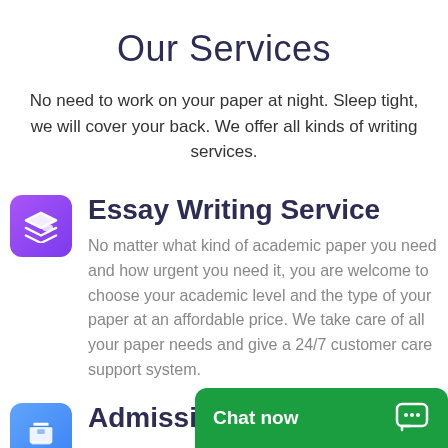Our Services
No need to work on your paper at night. Sleep tight, we will cover your back. We offer all kinds of writing services.
Essay Writing Service
No matter what kind of academic paper you need and how urgent you need it, you are welcome to choose your academic level and the type of your paper at an affordable price. We take care of all your paper needs and give a 24/7 customer care support system.
Admission E...
[Figure (other): Green chat bar at the bottom with 'Chat now' text and a chat bubble icon]